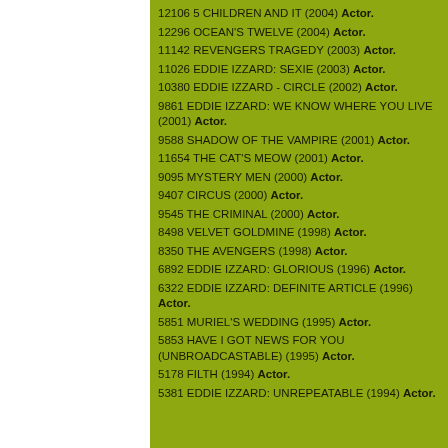12106 5 CHILDREN AND IT (2004) Actor.
12296 OCEAN'S TWELVE (2004) Actor.
11142 REVENGERS TRAGEDY (2003) Actor.
11026 EDDIE IZZARD: SEXIE (2003) Actor.
10380 EDDIE IZZARD - CIRCLE (2002) Actor.
9861 EDDIE IZZARD: WE KNOW WHERE YOU LIVE (2001) Actor.
9588 SHADOW OF THE VAMPIRE (2001) Actor.
11654 THE CAT'S MEOW (2001) Actor.
9095 MYSTERY MEN (2000) Actor.
9407 CIRCUS (2000) Actor.
9545 THE CRIMINAL (2000) Actor.
8498 VELVET GOLDMINE (1998) Actor.
8350 THE AVENGERS (1998) Actor.
6892 EDDIE IZZARD: GLORIOUS (1996) Actor.
6322 EDDIE IZZARD: DEFINITE ARTICLE (1996) Actor.
5851 MURIEL'S WEDDING (1995) Actor.
5853 HAVE I GOT NEWS FOR YOU (UNBROADCASTABLE) (1995) Actor.
5178 FILTH (1994) Actor.
5381 EDDIE IZZARD: UNREPEATABLE (1994) Actor.